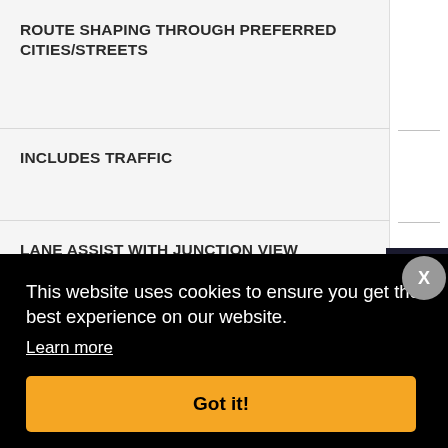ROUTE SHAPING THROUGH PREFERRED CITIES/STREETS
INCLUDES TRAFFIC
LANE ASSIST WITH JUNCTION VIEW (DISPLAYS JUNCTION SIGNS)
SPEED LIMIT INDICATOR (DISPLAYS SPEED LIMIT FOR MOST MAJOR ROADS IN THE U.S. AND EUROPE)
This website uses cookies to ensure you get the best experience on our website.
Learn more
Got it!